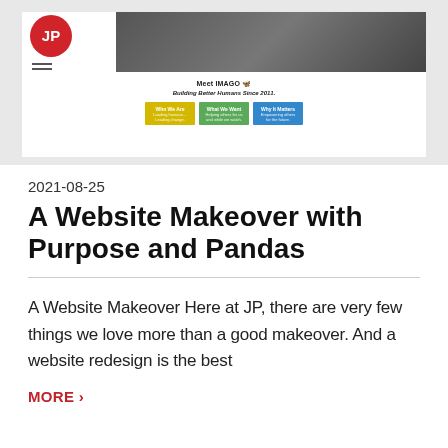[Figure (screenshot): Screenshot of a website mockup showing the IMAGO website with a 'JP' red circle logo, hamburger menu, hero image of people at a meeting, and navigation pills labeled 'Who We Are', 'What We Want', 'Why It Matters' in yellow, green, and blue respectively. Tagline reads 'Meet IMAGO – Building Better Humans Since 2011.']
2021-08-25
A Website Makeover with Purpose and Pandas
A Website Makeover Here at JP, there are very few things we love more than a good makeover. And a website redesign is the best
MORE ›